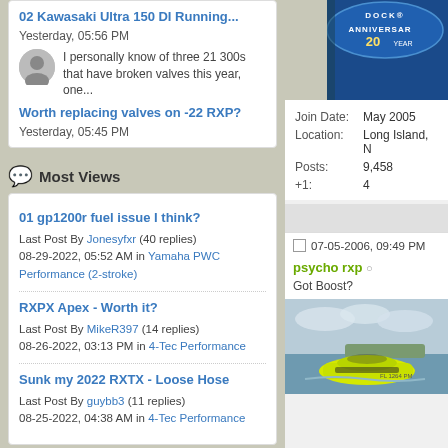02 Kawasaki Ultra 150 DI Running...
Yesterday, 05:56 PM
I personally know of three 21 300s that have broken valves this year, one...
Worth replacing valves on -22 RXP?
Yesterday, 05:45 PM
Most Views
01 gp1200r fuel issue I think?
Last Post By Jonesyfxr (40 replies) 08-29-2022, 05:52 AM in Yamaha PWC Performance (2-stroke)
RXPX Apex - Worth it?
Last Post By MikeR397 (14 replies) 08-26-2022, 03:13 PM in 4-Tec Performance
Sunk my 2022 RXTX - Loose Hose
Last Post By guybb3 (11 replies) 08-25-2022, 04:38 AM in 4-Tec Performance
[Figure (logo): Dock anniversary logo, blue background with DOCK text and ANNIVERSARY and 20 YEARS]
| Field | Value |
| --- | --- |
| Join Date: | May 2005 |
| Location: | Long Island, N |
| Posts: | 9,458 |
| +1: | 4 |
07-05-2006, 09:49 PM
psycho rxp
Got Boost?
[Figure (photo): Yellow and black personal watercraft (jet ski) on water]